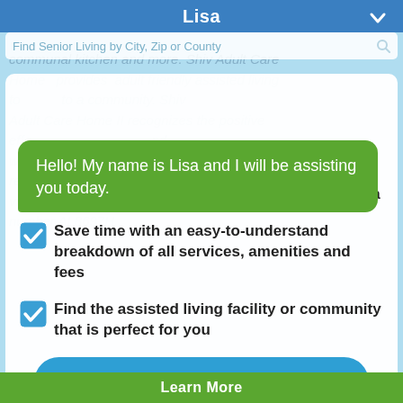Lisa
Find Senior Living by City, Zip or County
Hello! My name is Lisa and I will be assisting you today.
Get costs and availability for all assisted living facilities and communities in your area
Save time with an easy-to-understand breakdown of all services, amenities and fees
Find the assisted living facility or community that is perfect for you
Yes, I want to see pricing!
Or call (877) 663-0047
Learn More